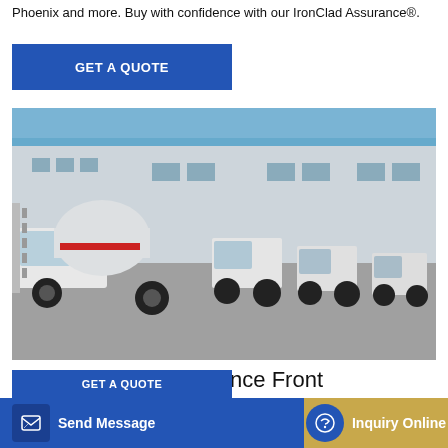Phoenix and more. Buy with confidence with our IronClad Assurance®.
GET A QUOTE
[Figure (photo): Row of white concrete mixer trucks parked in front of a large industrial warehouse building under a clear blue sky.]
Overview | Terex Advance Front Discharge Mixer Trucks
Send Message
Inquiry Online
GET A QUOTE